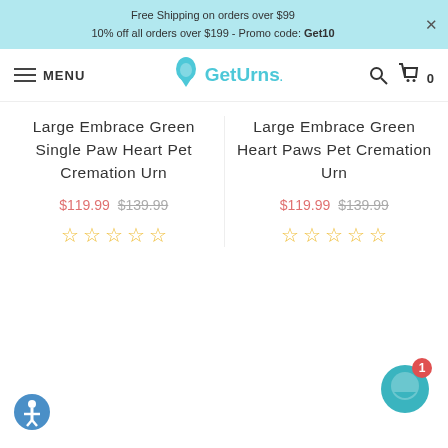Free Shipping on orders over $99
10% off all orders over $199 - Promo code: Get10
MENU | GetUrns.
Large Embrace Green Single Paw Heart Pet Cremation Urn
$119.99 $139.99 ☆☆☆☆☆
Large Embrace Green Heart Paws Pet Cremation Urn
$119.99 $139.99 ☆☆☆☆☆